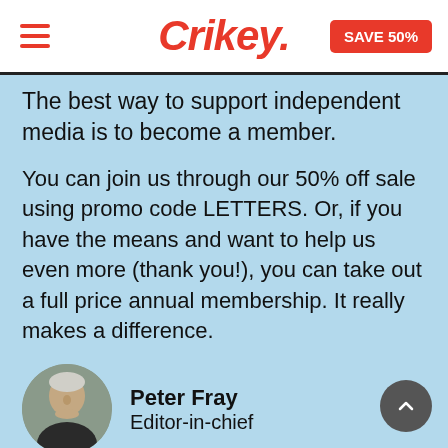Crikey. SAVE 50%
The best way to support independent media is to become a member.
You can join us through our 50% off sale using promo code LETTERS. Or, if you have the means and want to help us even more (thank you!), you can take out a full price annual membership. It really makes a difference.
[Figure (photo): Circular portrait photo of Peter Fray, Editor-in-chief of Crikey, an older man with white hair]
Peter Fray
Editor-in-chief
SUPPORT CRIKEY